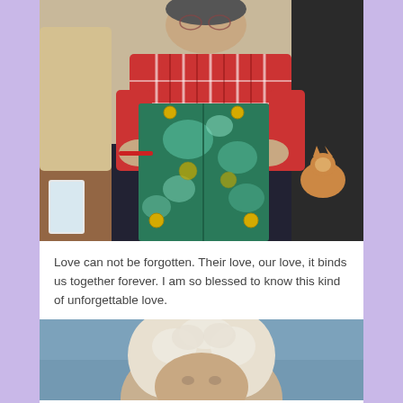[Figure (photo): An elderly person in a red and white plaid shirt sitting in a chair, holding a large gift wrapped in shiny teal/green wrapping paper with gold decorations. A cat is visible in the background on the right side. The setting appears to be a living room with patterned carpet.]
Love can not be forgotten. Their love, our love, it binds us together forever. I am so blessed to know this kind of unforgettable love.
[Figure (photo): Partial view of an elderly person with white/blonde curly hair against a blue background.]